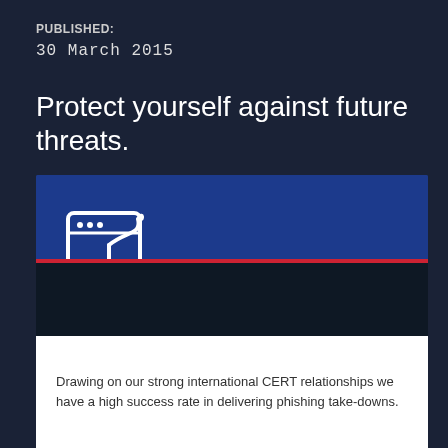PUBLISHED:
30 March 2015
Protect yourself against future threats.
[Figure (illustration): Phishing Take-Down service card with a phishing hook icon inside a browser window frame, dark blue background, with service label '//SERVICE' and title 'Phishing Take-Down']
Drawing on our strong international CERT relationships we have a high success rate in delivering phishing take-downs.